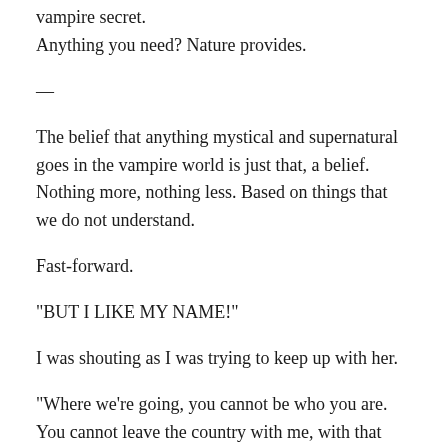vampire secret.
Anything you need? Nature provides.
—
The belief that anything mystical and supernatural goes in the vampire world is just that, a belief. Nothing more, nothing less. Based on things that we do not understand.
Fast-forward.
“BUT I LIKE MY NAME!”
I was shouting as I was trying to keep up with her.
“Where we’re going, you cannot be who you are. You cannot leave the country with me, with that name, not where we’re going. Not for this.”
When we get there, will it be easy to say I’m an ...